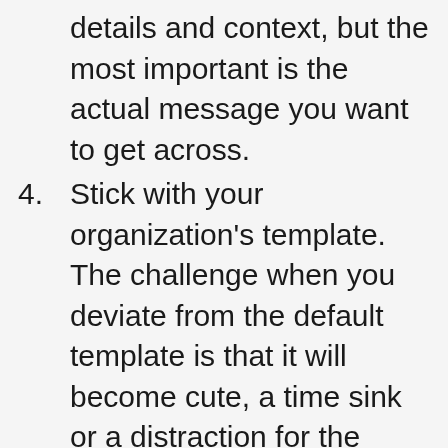details and context, but the most important is the actual message you want to get across.
4. Stick with your organization’s template. The challenge when you deviate from the default template is that it will become cute, a time sink or a distraction for the reader. So stick with the default. Don’t like the default? Then create a new one as a separate activity.
5. Ensure your slide has a take-away. The slide presents thoughts, data, or whatever; too often the conclusion or the action point of it is left to the reader or as voice over. Do not do this; spell